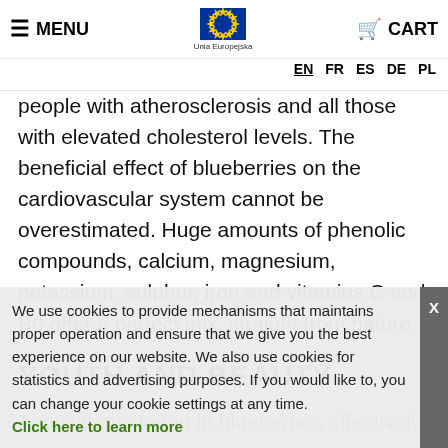MENU | EU Logo - Unia Europejska | EN FR ES DE PL | CART
...ts and dila...arteries. In this wa... they reduce the in...elli... people with atherosclerosis and all those with elevated cholesterol levels. The beneficial effect of blueberries on the cardiovascular system cannot be overestimated. Huge amounts of phenolic compounds, calcium, magnesium, potassium, sulphur, iron and vitamins C and B6 offer a perfect mix, straight from nature.
YOUTH AND BEAUTY
Antioxidants found in blueberries effectively
We use cookies to provide mechanisms that maintains proper operation and ensure that we give you the best experience on our website. We also use cookies for statistics and advertising purposes. If you would like to, you can change your cookie settings at any time. Click here to learn more